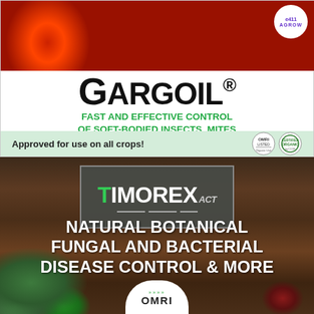[Figure (photo): Photo of fresh strawberries, blueberries, and green grapes arranged together with AGROW circular logo in top right corner]
GARGOIL®
FAST AND EFFECTIVE CONTROL OF SOFT-BODIED INSECTS, MITES AND FUNGAL DISEASES.
Approved for use on all crops!
[Figure (photo): Dark soil background with Timorex ACT logo in grey box, green vegetables and produce visible at bottom]
NATURAL BOTANICAL FUNGAL AND BACTERIAL DISEASE CONTROL & MORE
[Figure (logo): OMRI certification badge at bottom, white rounded rectangle on soil background]